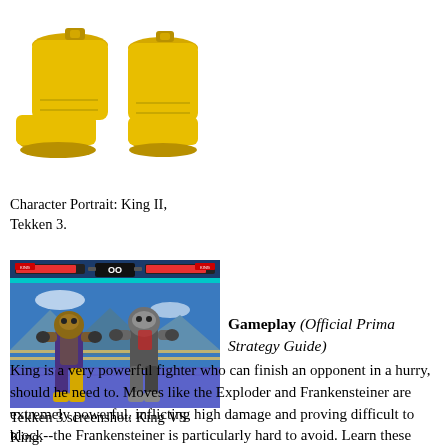[Figure (photo): Character portrait showing yellow boots of King II from Tekken 3, viewed from the waist down. Two yellow boots on a white background.]
Character Portrait: King II, Tekken 3.
[Figure (screenshot): Tekken 3 gameplay screenshot showing King versus King fight on a blue sky and mountain stage. Both characters are in fighting stances. The HUD shows health bars and the Tekken logo at the top.]
Tekken 3 screenshot: King VS King.
Gameplay (Official Prima Strategy Guide)
King is a very powerful fighter who can finish an opponent in a hurry, should he need to. Moves like the Exploder and Frankensteiner are extremely powerful, inflicting high damage and proving difficult to block--the Frankensteiner is particularly hard to avoid. Learn these moves and you'll have a winning chance, no